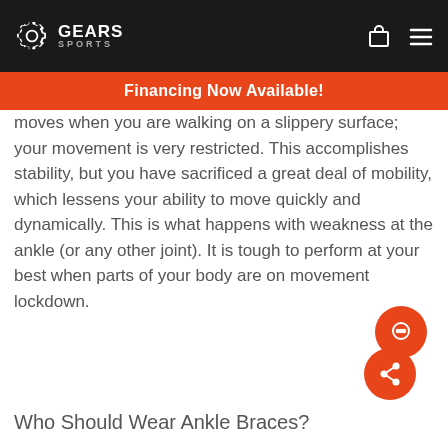Gears Sports — Financing Now Available!
moves when you are walking on a slippery surface; your movement is very restricted. This accomplishes stability, but you have sacrificed a great deal of mobility, which lessens your ability to move quickly and dynamically. This is what happens with weakness at the ankle (or any other joint). It is tough to perform at your best when parts of your body are on movement lockdown.
Who Should Wear Ankle Braces?